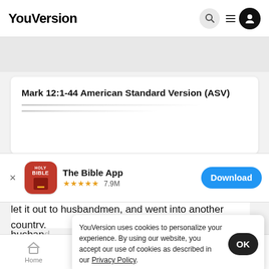YouVersion
Mark 12:1-44 American Standard Version (ASV)
[Figure (screenshot): The Bible App download banner with Holy Bible app icon, 5 stars rating, 7.9M downloads, and Download button]
let it out to husbandmen, and went into another country.
YouVersion uses cookies to personalize your experience. By using our website, you accept our use of cookies as described in our Privacy Policy.
husbanд... husbanд... took him, and beat him, and sent him away empty.
Home  Bible  Plans  Videos